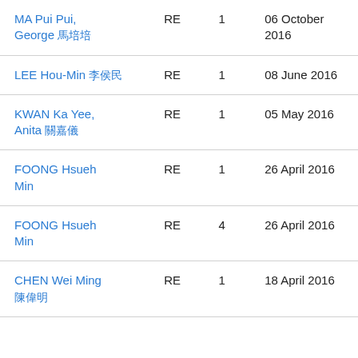| MA Pui Pui, George 馬培培 | RE | 1 | 06 October 2016 |
| LEE Hou-Min 李侯民 | RE | 1 | 08 June 2016 |
| KWAN Ka Yee, Anita 關嘉儀 | RE | 1 | 05 May 2016 |
| FOONG Hsueh Min | RE | 1 | 26 April 2016 |
| FOONG Hsueh Min | RE | 4 | 26 April 2016 |
| CHEN Wei Ming 陳偉明 | RE | 1 | 18 April 2016 |